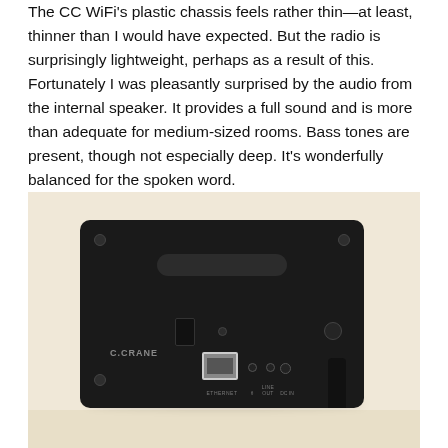The CC WiFi's plastic chassis feels rather thin—at least, thinner than I would have expected. But the radio is surprisingly lightweight, perhaps as a result of this. Fortunately I was pleasantly surprised by the audio from the internal speaker. It provides a full sound and is more than adequate for medium-sized rooms. Bass tones are present, though not especially deep. It's wonderfully balanced for the spoken word.
[Figure (photo): Rear view of a C.Crane WiFi radio device, showing a black rectangular box with an Ethernet port, headphone jack, line out, and DC-in ports on the back panel, sitting on a white/cream surface with a warm beige background. The C.CRANE brand name is printed on the lower left of the device back.]